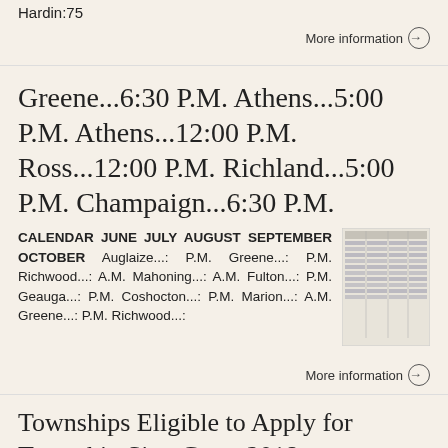Hardin:75
More information →
Greene...6:30 P.M. Athens...5:00 P.M. Athens...12:00 P.M. Ross...12:00 P.M. Richland...5:00 P.M. Champaign...6:30 P.M.
CALENDAR JUNE JULY AUGUST SEPTEMBER OCTOBER Auglaize...: P.M. Greene...: P.M. Richwood...: A.M. Mahoning...: A.M. Fulton...: P.M. Geauga...: P.M. Coshocton...: P.M. Marion...: A.M. Greene...: P.M. Richwood...:
[Figure (table-as-image): Thumbnail image of a calendar or schedule table with multiple columns of data]
More information →
Townships Eligible to Apply for Township Sign Grant 2018
Townships Eligible to Apply for Township Sign Grant 2018 For more information on
[Figure (table-as-image): Thumbnail image of a list or table of townships eligible for the sign grant]